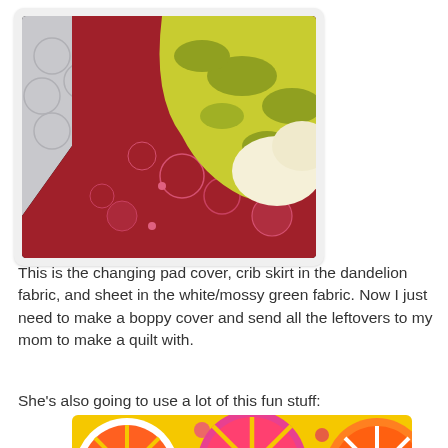[Figure (photo): Close-up photo of quilt fabrics: white fabric with circular pattern, red fabric with pink floral print, and yellow-green fabric with large leaf/flower print]
This is the changing pad cover, crib skirt in the dandelion fabric, and sheet in the white/mossy green fabric. Now I just need to make a boppy cover and send all the leftovers to my mom to make a quilt with.
She's also going to use a lot of this fun stuff:
[Figure (photo): Close-up photo of bright yellow fabric with colorful circular sunburst/pinwheel pattern in pink, red, orange, and white]